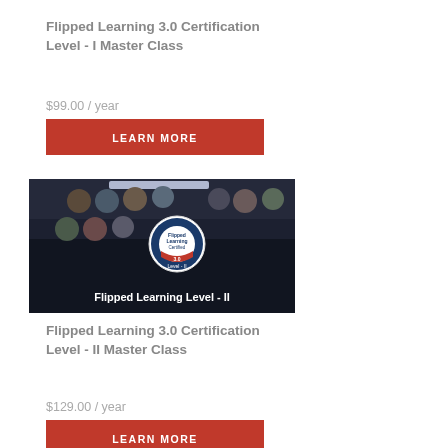[Figure (photo): Top cropped photo of a classroom or educational setting, dark tones]
Flipped Learning 3.0 Certification Level - I Master Class
$99.00 / year
LEARN MORE
[Figure (photo): Flipped Learning Level II course card image showing group of people portraits around a Flipped Learning Certified 3.0 Level-II badge, with text 'Flipped Learning Level - II']
Flipped Learning 3.0 Certification Level - II Master Class
$129.00 / year
LEARN MORE